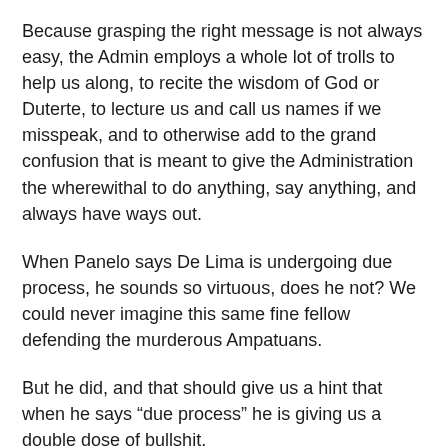Because grasping the right message is not always easy, the Admin employs a whole lot of trolls to help us along, to recite the wisdom of God or Duterte, to lecture us and call us names if we misspeak, and to otherwise add to the grand confusion that is meant to give the Administration the wherewithal to do anything, say anything, and always have ways out.
When Panelo says De Lima is undergoing due process, he sounds so virtuous, does he not? We could never imagine this same fine fellow defending the murderous Ampatuans.
But he did, and that should give us a hint that when he says “due process” he is giving us a double dose of bullshit.